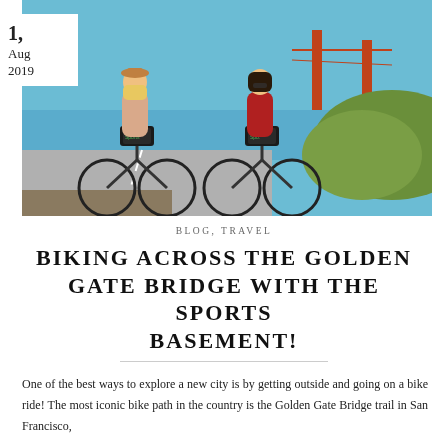[Figure (photo): Two women riding bicycles on a path near the Golden Gate Bridge in San Francisco, on a sunny day. Both bikes have Sports Basement branded bags on the front. The Golden Gate Bridge is visible in the background.]
1, Aug 2019
BLOG, TRAVEL
BIKING ACROSS THE GOLDEN GATE BRIDGE WITH THE SPORTS BASEMENT!
One of the best ways to explore a new city is by getting outside and going on a bike ride! The most iconic bike path in the country is the Golden Gate Bridge trail in San Francisco,